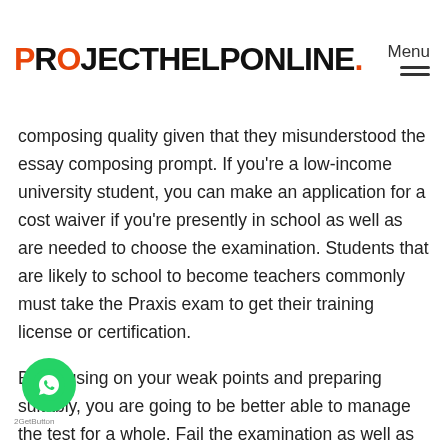PROJECTHELPONLINE. Menu
composing quality given that they misunderstood the essay composing prompt. If you're a low-income university student, you can make an application for a cost waiver if you're presently in school as well as are needed to choose the examination. Students that are likely to school to become teachers commonly must take the Praxis exam to get their training license or certification.
By focusing on your weak points and preparing suitably, you are going to be better able to manage the test for a whole. Fail the examination as well as you have to wait to retake, hoping you'll pass the 2nd moment. Praxis examinations are pricey. The Practice examinations are made to determine your abilities and also knowledge. Regrettably, the Practice II test isn't always the easiest test to pass.